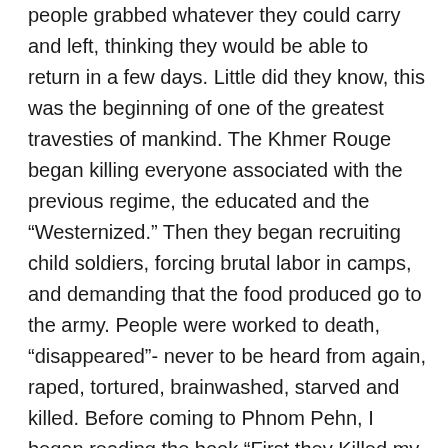people grabbed whatever they could carry and left, thinking they would be able to return in a few days.  Little did they know, this was the beginning of one of the greatest travesties of mankind.  The Khmer Rouge began killing everyone associated with the previous regime, the educated and the “Westernized.”  Then they began recruiting child soldiers, forcing brutal labor in camps, and demanding that the food produced go to the army.  People were worked to death, “disappeared”- never to be heard from again, raped, tortured, brainwashed, starved and killed.  Before coming to Phnom Pehn, I began reading the book “First they Killed my Father.”  It was the riveting story of a little girl who lost most of her family to the 4 year reign of terror by the Khmer Rouge.  It is a book I highly recommend to anyone who wants to learn more about the killings in Cambodia (there is also a sequel- “Lucky Child”).